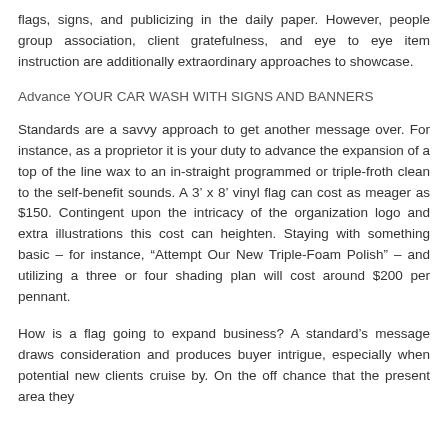flags, signs, and publicizing in the daily paper. However, people group association, client gratefulness, and eye to eye item instruction are additionally extraordinary approaches to showcase.
Advance YOUR CAR WASH WITH SIGNS AND BANNERS
Standards are a savvy approach to get another message over. For instance, as a proprietor it is your duty to advance the expansion of a top of the line wax to an in-straight programmed or triple-froth clean to the self-benefit sounds. A 3’ x 8’ vinyl flag can cost as meager as $150. Contingent upon the intricacy of the organization logo and extra illustrations this cost can heighten. Staying with something basic – for instance, “Attempt Our New Triple-Foam Polish” – and utilizing a three or four shading plan will cost around $200 per pennant.
How is a flag going to expand business? A standard’s message draws consideration and produces buyer intrigue, especially when potential new clients cruise by. On the off chance that the present area they